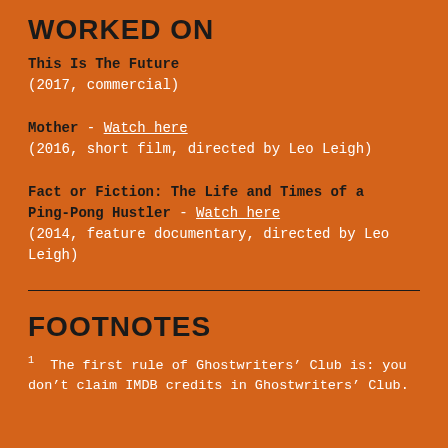WORKED ON
This Is The Future
(2017, commercial)
Mother - Watch here
(2016, short film, directed by Leo Leigh)
Fact or Fiction: The Life and Times of a Ping-Pong Hustler - Watch here
(2014, feature documentary, directed by Leo Leigh)
FOOTNOTES
1 The first rule of Ghostwriters’ Club is: you don’t claim IMDB credits in Ghostwriters’ Club.